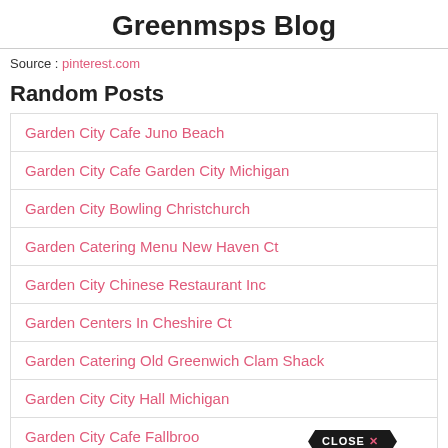Greenmsps Blog
Source : pinterest.com
Random Posts
Garden City Cafe Juno Beach
Garden City Cafe Garden City Michigan
Garden City Bowling Christchurch
Garden Catering Menu New Haven Ct
Garden City Chinese Restaurant Inc
Garden Centers In Cheshire Ct
Garden Catering Old Greenwich Clam Shack
Garden City City Hall Michigan
Garden City Cafe Fallbroo...